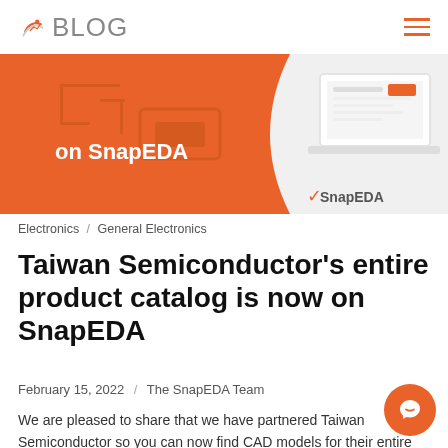BLOG
[Figure (illustration): Hero banner image: orange and white SnapEDA promotional graphic showing 'on SnapEDA' text with laptop mockup and SnapEDA logo]
Electronics / General Electronics
Taiwan Semiconductor's entire product catalog is now on SnapEDA
February 15, 2022 / The SnapEDA Team
We are pleased to share that we have partnered Taiwan Semiconductor so you can now find CAD models for their entire product catalog on SnapEDA! Taiwan Semiconductor is known for their automotive-grade